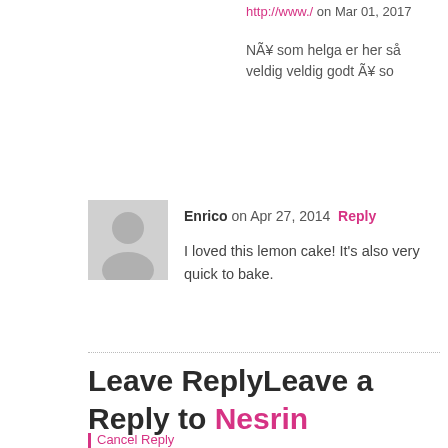http://www./ on Mar 01, 2017
NÃ¥ som helga er her så veldig veldig godt Ã¥ so
Enrico on Apr 27, 2014 Reply
I loved this lemon cake! It's also very quick to bake.
Leave ReplyLeave a Reply to Nesrin
Cancel Reply
Name:
E-Mail: